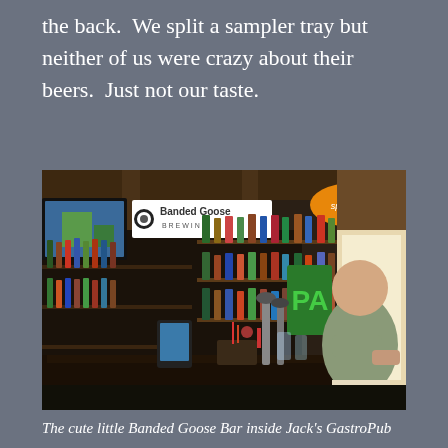the back.  We split a sampler tray but neither of us were crazy about their beers.  Just not our taste.
[Figure (photo): Interior of the Banded Goose Bar inside Jack's GastroPub, showing a well-stocked bar with shelves of bottles, a Banded Goose Brewing sign, a Spearhead sign, a man sitting at the bar, and a bartender area with taps and a POS tablet.]
The cute little Banded Goose Bar inside Jack's GastroPub